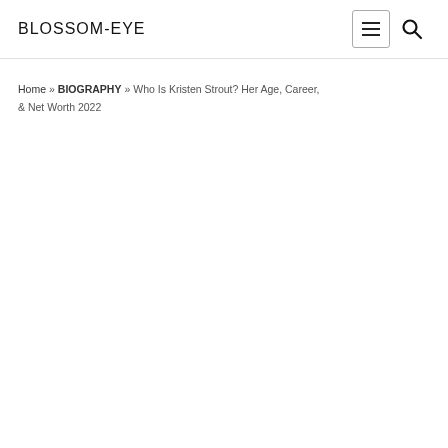BLOSSOM-EYE
Home » BIOGRAPHY » Who Is Kristen Strout? Her Age, Career, & Net Worth 2022